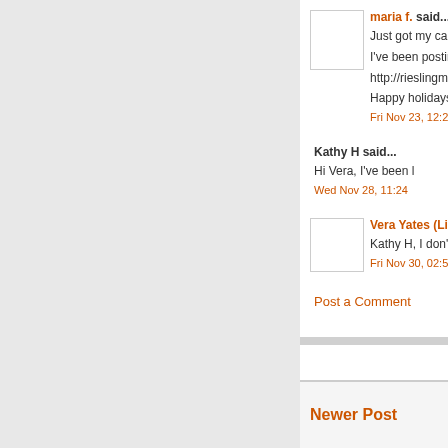maria f. said...
Just got my cards p
I've been posting th
http://rieslingmama.
Happy holidays to y
Fri Nov 23, 12:20:0
Kathy H said...
Hi Vera, I've been l
Wed Nov 28, 11:24
Vera Yates (Ling) s
Kathy H, I don't hav
Fri Nov 30, 02:58:0
Post a Comment
Newer Post